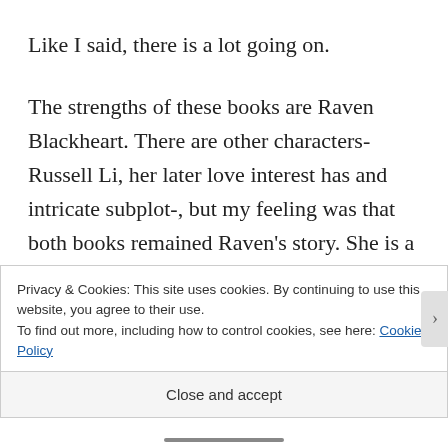Like I said, there is a lot going on.
The strengths of these books are Raven Blackheart. There are other characters- Russell Li, her later love interest has and intricate subplot-, but my feeling was that both books remained Raven’s story. She is a tough character, action hero style, and both books are heavy on the action sequences. The scientific
Privacy & Cookies: This site uses cookies. By continuing to use this website, you agree to their use.
To find out more, including how to control cookies, see here: Cookie Policy
Close and accept